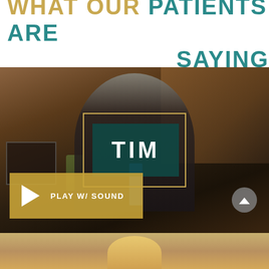WHAT OUR PATIENTS ARE SAYING
[Figure (photo): Video thumbnail of a middle-aged man in a suit with a blue tie, seated in a home setting. An overlay shows a teal box with the name 'TIM' in white text, bordered by a gold rectangle. A gold 'PLAY W/ SOUND' button appears at the bottom left. A grey circular scroll-up button is at bottom right.]
[Figure (photo): Partial view of another video/image at the very bottom of the page, showing a blurred figure.]